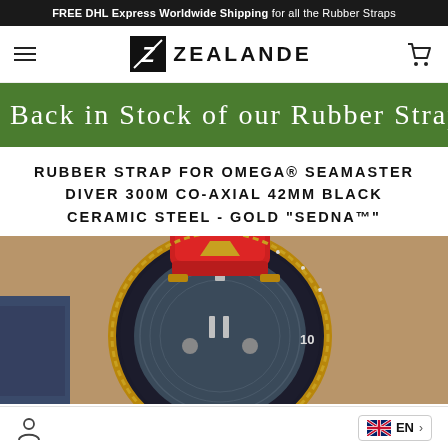FREE DHL Express Worldwide Shipping for all the Rubber Straps
[Figure (logo): Zealande brand logo with stylized Z icon and ZEALANDE wordmark]
Back in Stock of our Rubber Strap
RUBBER STRAP FOR OMEGA® SEAMASTER DIVER 300M CO-AXIAL 42MM BLACK CERAMIC STEEL - GOLD "SEDNA™"
[Figure (photo): Close-up photo of an Omega Seamaster Diver 300M watch on a wrist with a red rubber strap, showing the black and gold ceramic bezel and blue wave dial]
EN